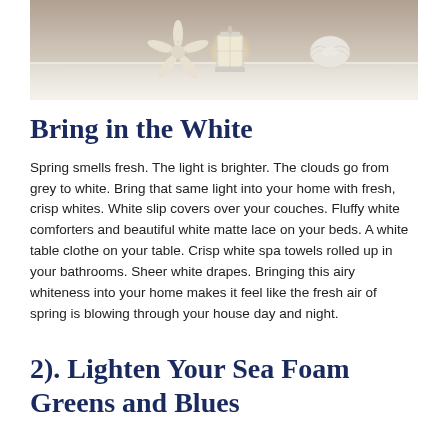[Figure (photo): Coastal/beach themed decorative photo showing a white starfish, a white lantern with warm glow, and a white shell on a whitewashed wooden surface with a neutral beige/taupe background.]
Bring in the White
Spring smells fresh. The light is brighter. The clouds go from grey to white. Bring that same light into your home with fresh, crisp whites. White slip covers over your couches. Fluffy white comforters and beautiful white matte lace on your beds. A white table clothe on your table. Crisp white spa towels rolled up in your bathrooms. Sheer white drapes. Bringing this airy whiteness into your home makes it feel like the fresh air of spring is blowing through your house day and night.
2). Lighten Your Sea Foam Greens and Blues